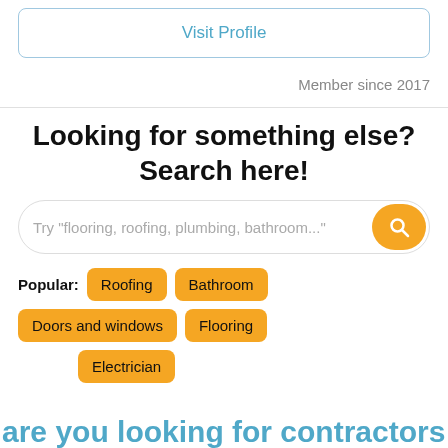Visit Profile
Member since 2017
Looking for something else? Search here!
Try "flooring, roofing, plumbing, bathroom..."
Popular: Roofing  Bathroom  Doors and windows  Flooring  Electrician
are you looking for contractors in a